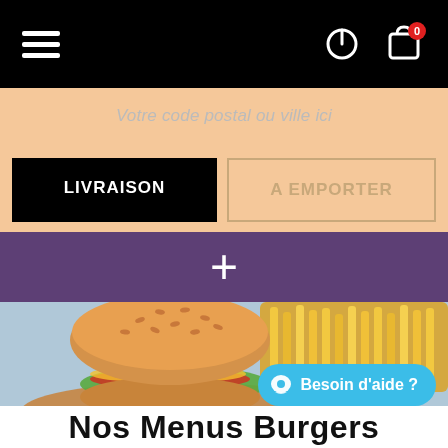[Figure (screenshot): Black navigation bar with hamburger menu icon on left, power icon and shopping bag icon with red '0' badge on the right]
Votre code postal ou ville ici
LIVRAISON
A EMPORTER
+
[Figure (photo): Close-up photo of a hamburger with sesame bun, lettuce, tomato, cheese on a wooden board, with french fries in the background and a small red sauce cup]
Besoin d'aide ?
Nos Menus Burgers